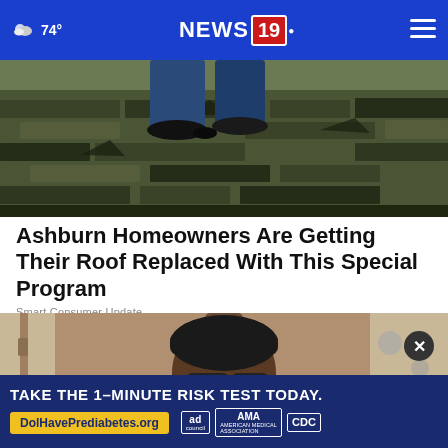74° NEWS 19
[Figure (photo): Close-up photo of damaged roof shingles with a person's feet/legs visible standing on the deteriorating roof]
Ashburn Homeowners Are Getting Their Roof Replaced With This Special Program
Smart Consumer Update
[Figure (photo): Portrait photo of a person wearing sunglasses and a dark cap, photographed indoors]
[Figure (infographic): Advertisement banner: TAKE THE 1-MINUTE RISK TEST TODAY. DolHavePrediabetes.org — with ad council, AMA, and CDC logos]